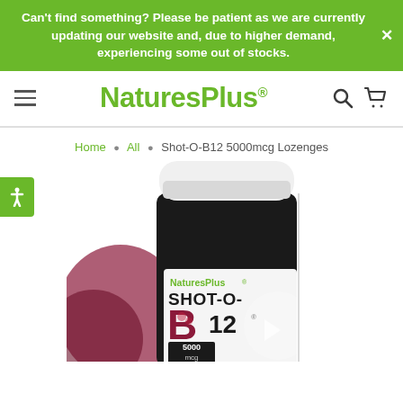Can't find something? Please be patient as we are currently updating our website and, due to higher demand, experiencing some out of stocks.
[Figure (logo): NaturesPlus brand logo in green text with hamburger menu, search and cart icons]
Home • All • Shot-O-B12 5000mcg Lozenges
[Figure (photo): NaturesPlus Shot-O-B12 5000mcg supplement bottle, black with white cap and label showing SHOT-O-B12 branding]